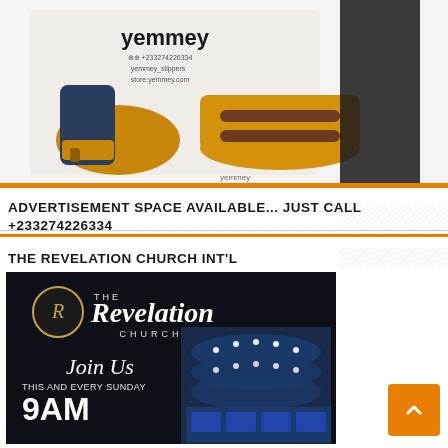[Figure (photo): Yemmey sandals/slippers product advertisement photo showing yellow and brown leather sandals with the Yemmey brand logo bag and contact info: +233274226334, yemmey_slippers, store.yemmey.com]
ADVERTISEMENT SPACE AVAILABLE... JUST CALL +233274226334
THE REVELATION CHURCH INT'L
[Figure (photo): The Revelation Church advertisement image showing the church logo (R in a gold circle), Join Us / This and Every Sunday / 9AM text, and a photo of the church building illuminated with blue lights]